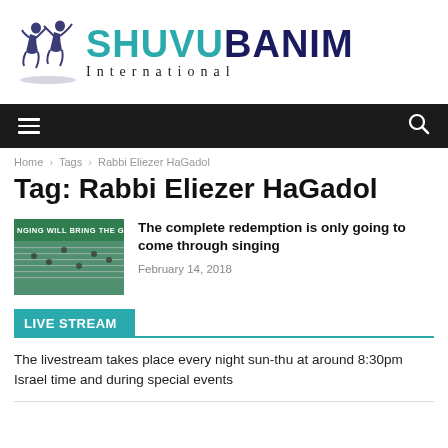[Figure (logo): Shuvubanim International logo with two dancing figures silhouette and teal/navy text]
Navigation bar with hamburger menu and search icon
Home › Tags › Rabbi Eliezer HaGadol
Tag: Rabbi Eliezer HaGadol
[Figure (photo): Thumbnail image with text NGING WILL BRING THE GEU overlaid on sheet music background]
The complete redemption is only going to come through singing
February 14, 2018
LIVE STREAM
The livestream takes place every night sun-thu at around 8:30pm Israel time and during special events